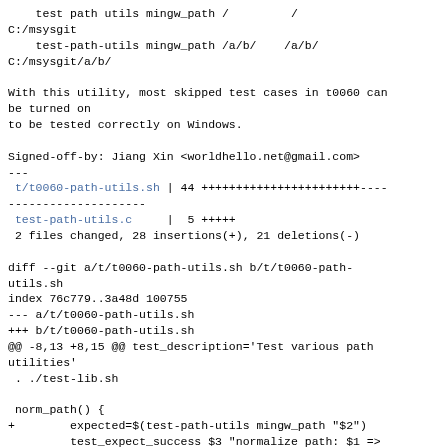test path utils mingw_path /         /
C:/msysgit
    test-path-utils mingw_path /a/b/    /a/b/
C:/msysgit/a/b/

With this utility, most skipped test cases in t0060 can be turned on
to be tested correctly on Windows.

Signed-off-by: Jiang Xin <worldhello.net@gmail.com>
---
 t/t0060-path-utils.sh | 44 +++++++++++++++++++++++--------------------
 test-path-utils.c     |  5 +++++
 2 files changed, 28 insertions(+), 21 deletions(-)

diff --git a/t/t0060-path-utils.sh b/t/t0060-path-utils.sh
index 76c779..3a48d 100755
--- a/t/t0060-path-utils.sh
+++ b/t/t0060-path-utils.sh
@@ -8,13 +8,15 @@ test_description='Test various path utilities'
 . ./test-lib.sh

 norm_path() {
+        expected=$(test-path-utils mingw_path "$2")
         test_expect_success $3 "normalize path: $1 => $2" \
-        "test \"\$(test-path-utils normalize_path_copy '$1'))" = '$2'!"